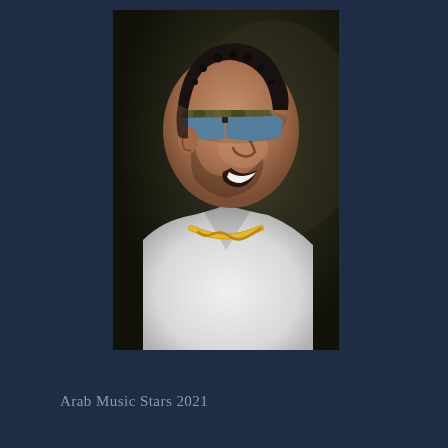[Figure (photo): A smiling man with short curly hair wearing mirrored/blue-tinted sunglasses with camouflage pattern frames, a white open-collar linen shirt, and a thick gold chain necklace. He is photographed in profile/three-quarter view against a dark background.]
Arab Music Stars 2021